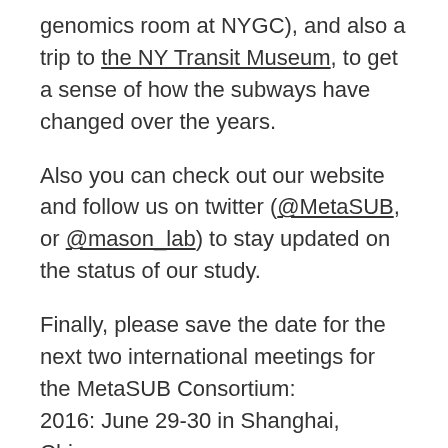genomics room at NYGC), and also a trip to the NY Transit Museum, to get a sense of how the subways have changed over the years.
Also you can check out our website and follow us on twitter (@MetaSUB, or @mason_lab) to stay updated on the status of our study.
Finally, please save the date for the next two international meetings for the MetaSUB Consortium:
2016: June 29-30 in Shanghai, China.
2017: June 29-30, in São Paolo, Brazil.
We hope to see you in NYC this summer!